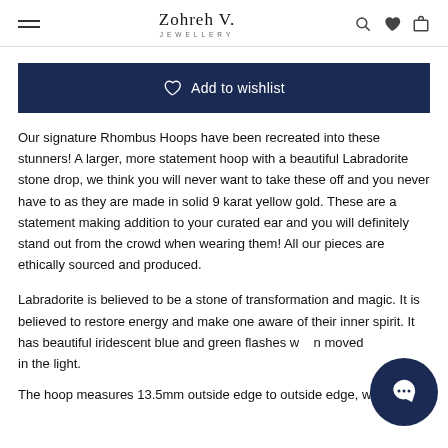Zohreh V. Jewellery
Add to wishlist
Our signature Rhombus Hoops have been recreated into these stunners! A larger, more statement hoop with a beautiful Labradorite stone drop, we think you will never want to take these off and you never have to as they are made in solid 9 karat yellow gold. These are a statement making addition to your curated ear and you will definitely stand out from the crowd when wearing them! All our pieces are ethically sourced and produced.
Labradorite is believed to be a stone of transformation and magic. It is believed to restore energy and make one aware of their inner spirit. It has beautiful iridescent blue and green flashes when moved in the light.
The hoop measures 13.5mm outside edge to outside edge, with a